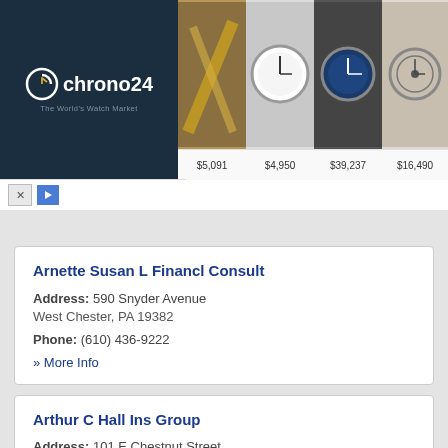[Figure (screenshot): Chrono24 advertisement banner showing watch marketplace with logo on left and watch images with prices: $5,091, $4,950, $39,237, $16,490]
Arnette Susan L Financl Consult
Address: 590 Snyder Avenue
West Chester, PA 19382
Phone: (610) 436-9222
» More Info
Arthur C Hall Ins Group
Address: 101 E Chestnut Street
West Chester, PA 19380
Phone: (610) 696-2394